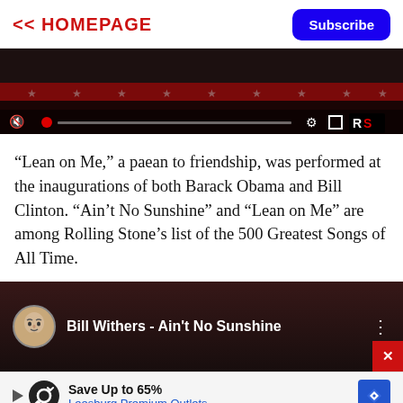<< HOMEPAGE | Subscribe
[Figure (screenshot): Video player showing a dark background with stars and red stripe, with playback controls including mute icon, red dot progress indicator, settings gear, fullscreen button, and RS logo badge]
“Lean on Me,” a paean to friendship, was performed at the inaugurations of both Barack Obama and Bill Clinton. “Ain’t No Sunshine” and “Lean on Me” are among Rolling Stone’s list of the 500 Greatest Songs of All Time.
[Figure (screenshot): YouTube video thumbnail for 'Bill Withers - Ain't No Sunshine' showing avatar circle icon, video title, and three-dot menu, with a close X button in bottom right corner]
[Figure (screenshot): Advertisement bar: Save Up to 65% at Leesburg Premium Outlets, with loop/infinity icon and navigation arrow icon]